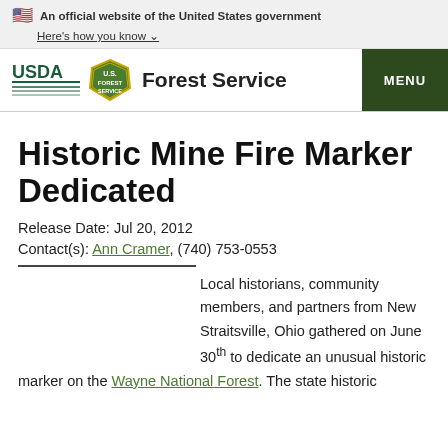An official website of the United States government Here's how you know
Forest Service MENU
Historic Mine Fire Marker Dedicated
Release Date: Jul 20, 2012
Contact(s): Ann Cramer, (740) 753-0553
Local historians, community members, and partners from New Straitsville, Ohio gathered on June 30th to dedicate an unusual historic marker on the Wayne National Forest. The state historic